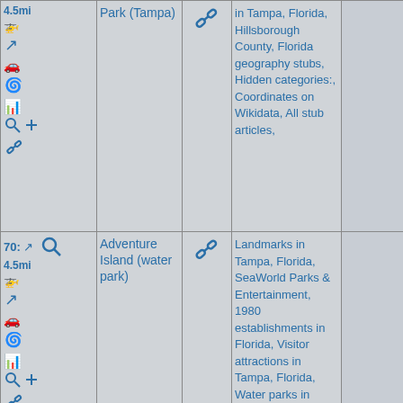| Controls | Place Name | Link | Categories |  |
| --- | --- | --- | --- | --- |
| 4.5mi [helicopter] [arrow] [car] [swirl] [chart] [search] [plus] [link] | Park (Tampa) | [link icon] | in Tampa, Florida, Hillsborough County, Florida geography stubs, Hidden categories:, Coordinates on Wikidata, All stub articles, |  |
| 70: [arrow] [search] 4.5mi [helicopter] [arrow] [car] [swirl] [chart] [search] [plus] [link] | Adventure Island (water park) | [link icon] | Landmarks in Tampa, Florida, SeaWorld Parks & Entertainment, 1980 establishments in Florida, Visitor attractions in Tampa, Florida, Water parks in Florida, Hidden categories:, Coordinates on Wikidata, |  |